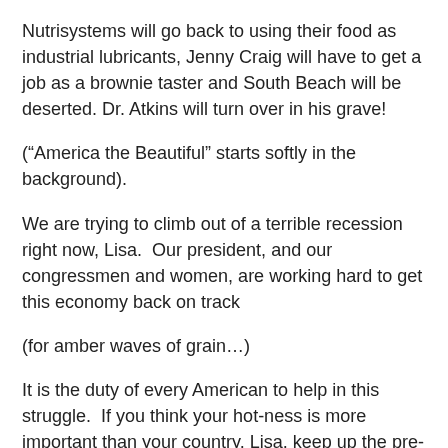Nutrisystems will go back to using their food as industrial lubricants, Jenny Craig will have to get a job as a brownie taster and South Beach will be deserted. Dr. Atkins will turn over in his grave!
(“America the Beautiful” starts softly in the background).
We are trying to climb out of a terrible recession right now, Lisa.  Our president, and our congressmen and women, are working hard to get this economy back on track
(for amber waves of grain…)
It is the duty of every American to help in this struggle.  If you think your hot-ness is more important than your country, Lisa, keep up the pre-Christmas diet.  Help put thousands, nay millions of our fellow Americans out of